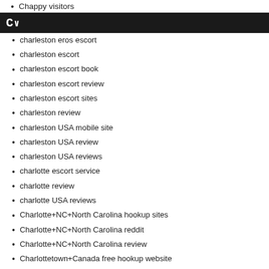Chappy visitors
C~
charleston eros escort
charleston escort
charleston escort book
charleston escort review
charleston escort sites
charleston review
charleston USA mobile site
charleston USA review
charleston USA reviews
charlotte escort service
charlotte review
charlotte USA reviews
Charlotte+NC+North Carolina hookup sites
Charlotte+NC+North Carolina reddit
Charlotte+NC+North Carolina review
Charlottetown+Canada free hookup website
Charlottetown+Canada hookup sites
Charlottetown+Canada review
Charlottetown+Canada sign in
Charm Date review
charmdate ?berpr?fung
charmdate it review